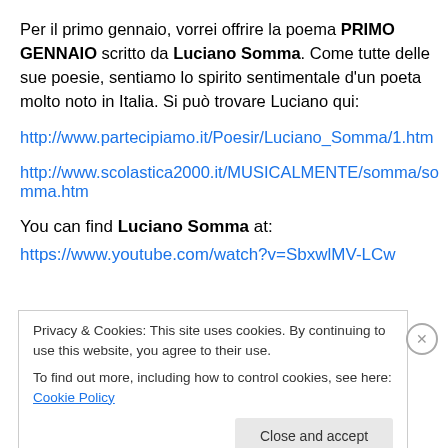Per il primo gennaio, vorrei offrire la poema PRIMO GENNAIO scritto da Luciano Somma. Come tutte delle sue poesie, sentiamo lo spirito sentimentale d'un poeta molto noto in Italia. Si può trovare Luciano qui:
http://www.partecipiamo.it/Poesir/Luciano_Somma/1.htm
http://www.scolastica2000.it/MUSICALMENTE/somma/somma.htm
You can find Luciano Somma at:
https://www.youtube.com/watch?v=SbxwlMV-LCw
Privacy & Cookies: This site uses cookies. By continuing to use this website, you agree to their use.
To find out more, including how to control cookies, see here: Cookie Policy
Close and accept